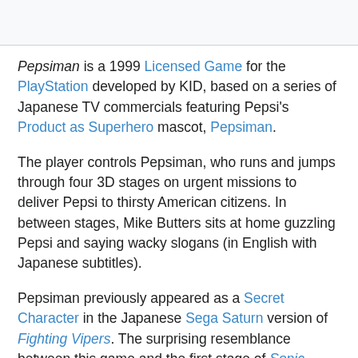Pepsiman is a 1999 Licensed Game for the PlayStation developed by KID, based on a series of Japanese TV commercials featuring Pepsi's Product as Superhero mascot, Pepsiman.
The player controls Pepsiman, who runs and jumps through four 3D stages on urgent missions to deliver Pepsi to thirsty American citizens. In between stages, Mike Butters sits at home guzzling Pepsi and saying wacky slogans (in English with Japanese subtitles).
Pepsiman previously appeared as a Secret Character in the Japanese Sega Saturn version of Fighting Vipers. The surprising resemblance between this game and the first stage of Sonic Adventure 2 is probably coincidental.
Reviewed by the Angry Video Game Nerd here.